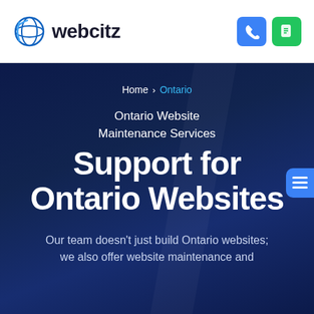[Figure (logo): Webcitz logo with globe icon and text 'webcitz']
Home > Ontario
Ontario Website Maintenance Services
Support for Ontario Websites
Our team doesn't just build Ontario websites; we also offer website maintenance and